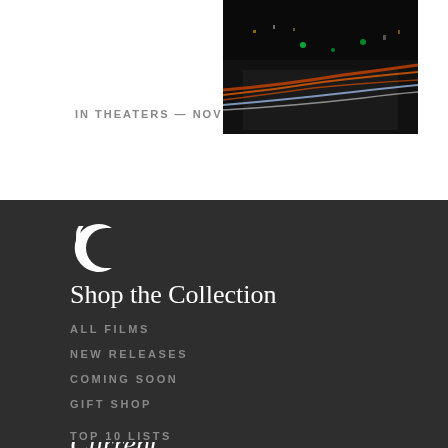IN THEATERS — NOV 29, 2018
[Figure (photo): Night aerial photo of a highway with light trails from cars, dark background]
[Figure (logo): Criterion Collection logo - white letter C shape on dark background]
Shop the Collection
ALL FILMS
NEW RELEASES
COMING SOON
GIFT SHOP
Current
TOP 10 LISTS